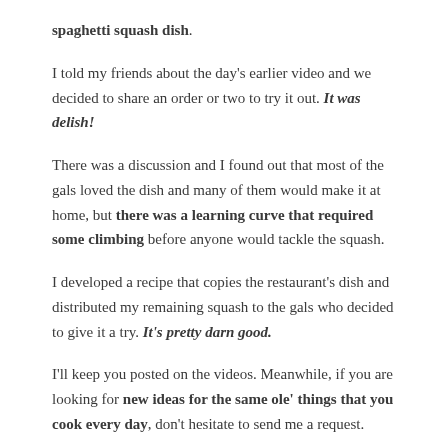spaghetti squash dish.
I told my friends about the day's earlier video and we decided to share an order or two to try it out. It was delish!
There was a discussion and I found out that most of the gals loved the dish and many of them would make it at home, but there was a learning curve that required some climbing before anyone would tackle the squash.
I developed a recipe that copies the restaurant's dish and distributed my remaining squash to the gals who decided to give it a try. It's pretty darn good.
I'll keep you posted on the videos. Meanwhile, if you are looking for new ideas for the same ole' things that you cook every day, don't hesitate to send me a request.
I might invite you to come over and video with me! ☺